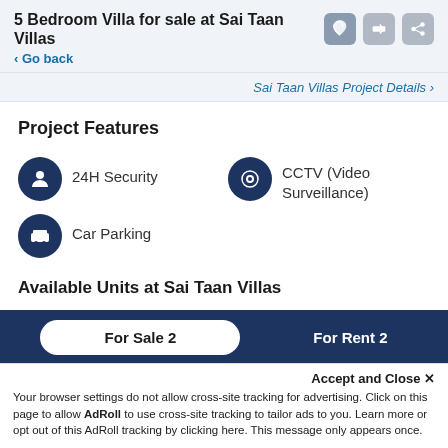5 Bedroom Villa for sale at Sai Taan Villas
< Go back
Sai Taan Villas Project Details >
Project Features
24H Security
CCTV (Video Surveillance)
Car Parking
Available Units at Sai Taan Villas
For Sale 2
For Rent 2
Accept and Close ✕
Your browser settings do not allow cross-site tracking for advertising. Click on this page to allow AdRoll to use cross-site tracking to tailor ads to you. Learn more or opt out of this AdRoll tracking by clicking here. This message only appears once.